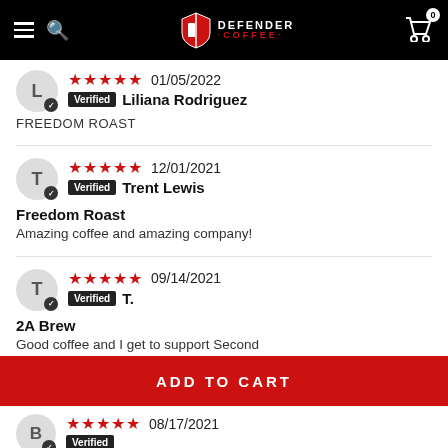[Figure (logo): Defender Coffee logo with shield icon on black navigation bar]
5 stars  01/05/2022  Verified  Liliana Rodriguez  FREEDOM ROAST
5 stars  12/01/2021  Verified  Trent Lewis  Freedom Roast  Amazing coffee and amazing company!
5 stars  09/14/2021  Verified  T.  2A Brew  Good coffee and I get to support Second
ADD TO CART
5 stars  08/17/2021  Verified  B.